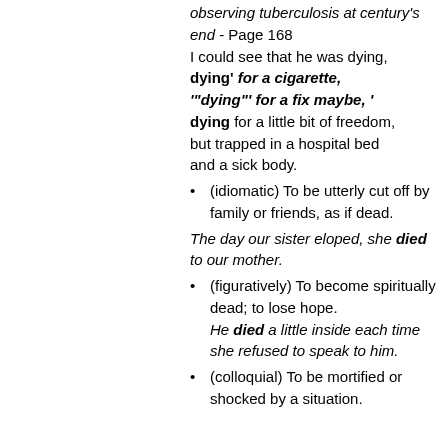observing tuberculosis at century's end - Page 168
I could see that he was dying, dying' for a cigarette, '"dying"' for a fix maybe, 'dying for a little bit of freedom, but trapped in a hospital bed and a sick body.
(idiomatic) To be utterly cut off by family or friends, as if dead.
The day our sister eloped, she died to our mother.
(figuratively) To become spiritually dead; to lose hope.
He died a little inside each time she refused to speak to him.
(colloquial) To be mortified or shocked by a situation.